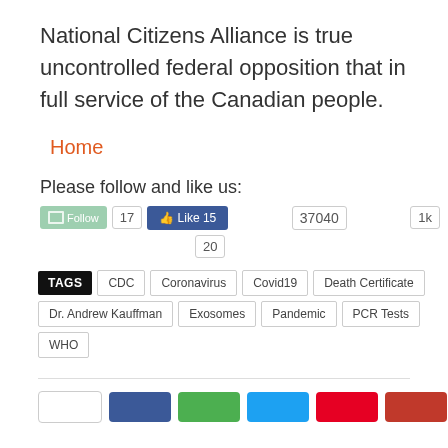National Citizens Alliance is true uncontrolled federal opposition that in full service of the Canadian people.
Home
Please follow and like us:
TAGS  CDC  Coronavirus  Covid19  Death Certificate  Dr. Andrew Kauffman  Exosomes  Pandemic  PCR Tests  WHO